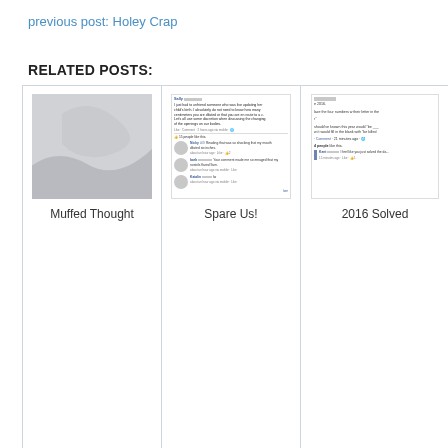previous post: Holey Crap
RELATED POSTS:
[Figure (screenshot): Thumbnail image placeholder with gray wavy decorative shapes for 'Muffed Thought' related post]
Muffed Thought
[Figure (screenshot): Screenshot of a Facebook post by Sally about unfriending someone who live-updated their child's birth, with comments from Nicky, barb, and Katalin]
Spare Us!
[Figure (screenshot): Partial screenshot of a Facebook post about 2016 with partial text visible including 'e 2016.', 'lace the four numbers w their letter in the', 'r"', 'should’ve known this year would "be ___ w it would fill in the blank with "be killed', and a comment from Kent saying 'I feel like you just solved the da...']
2016 Solved